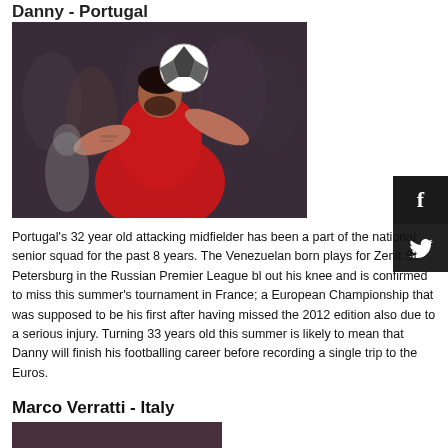Danny - Portugal
[Figure (photo): Danny, Portugal's number 10 attacking midfielder, heading a soccer ball in a red Portugal national team jersey, with a crowd in the background.]
Portugal's 32 year old attacking midfielder has been a part of the national senior squad for the past 8 years. The Venezuelan born plays for Zenit St. Petersburg in the Russian Premier League bl out his knee and is confirmed to miss this summer's tournament in France; a European Championship that was supposed to be his first after having missed the 2012 edition also due to a serious injury. Turning 33 years old this summer is likely to mean that Danny will finish his footballing career before recording a single trip to the Euros.
Marco Verratti - Italy
[Figure (photo): Partial view of Marco Verratti photo at bottom of page.]